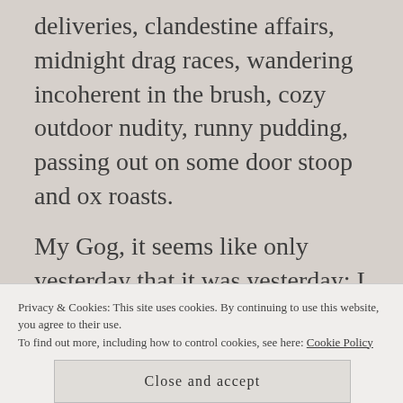deliveries, clandestine affairs, midnight drag races, wandering incoherent in the brush, cozy outdoor nudity, runny pudding, passing out on some door stoop and ox roasts.
My Gog, it seems like only yesterday that it was yesterday; I haven't navel gazed in at least a month, and my vacation in Orlando, Florida, was filled with meat and water... overall, I've been very good.  Yes, there has been a tragedy recently, but I've wisely channeled all my extra
Privacy & Cookies: This site uses cookies. By continuing to use this website, you agree to their use.
To find out more, including how to control cookies, see here: Cookie Policy
Close and accept